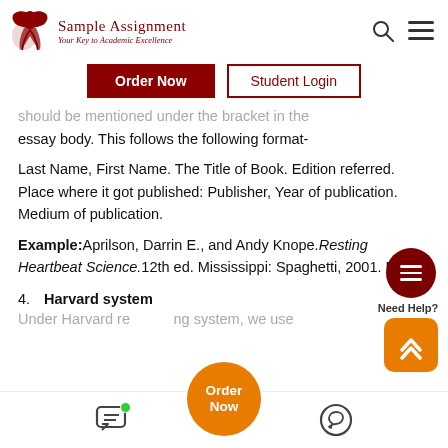[Figure (logo): Sample Assignment logo with bird and text 'Your Key to Academic Excellence']
Order Now | Student Login navigation buttons
should be mentioned under the bracket in the essay body. This follows the following format-
Last Name, First Name. The Title of Book. Edition referred. Place where it got published: Publisher, Year of publication. Medium of publication.
Example: Aprilson, Darrin E., and Andy Knope. Resting Heartbeat Science. 12th ed. Mississippi: Spaghetti, 2001. Print.
4. Harvard system
Under Harvard referencing system, we use